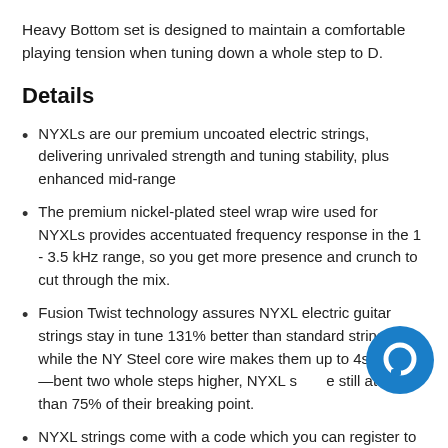Heavy Bottom set is designed to maintain a comfortable playing tension when tuning down a whole step to D.
Details
NYXLs are our premium uncoated electric strings, delivering unrivaled strength and tuning stability, plus enhanced mid-range
The premium nickel-plated steel wrap wire used for NYXLs provides accentuated frequency response in the 1 - 3.5 kHz range, so you get more presence and crunch to cut through the mix.
Fusion Twist technology assures NYXL electric guitar strings stay in tune 131% better than standard strings, while the NY Steel core wire makes them up to 4[x] stronger—bent two whole steps higher, NYXL s[tring]e still at less than 75% of their breaking point.
NYXL strings come with a code which you can register to